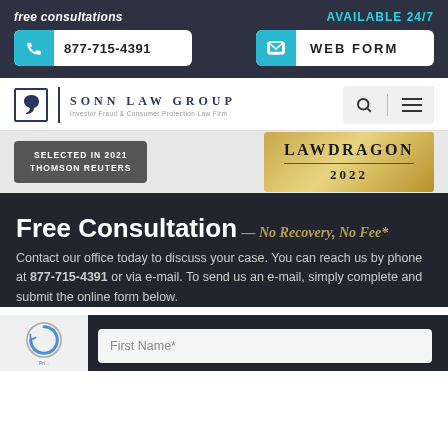free consultations
AVAILABLE 24/7
877-715-4391
WEB FORM
[Figure (logo): Sonn Law Group logo — S monogram with vertical divider and firm name 'SONN LAW GROUP' and subtitle 'Investor Fraud & Consumer Protection Law Firm']
[Figure (logo): Thomson Reuters Selected in 2021 badge]
[Figure (logo): Lawdragon 2022 gold badge]
Free Consultation
— No Recovery, No Fee*
Contact our office today to discuss your case. You can reach us by phone at 877-715-4391 or via e-mail. To send us an e-mail, simply complete and submit the online form below.
First Name*